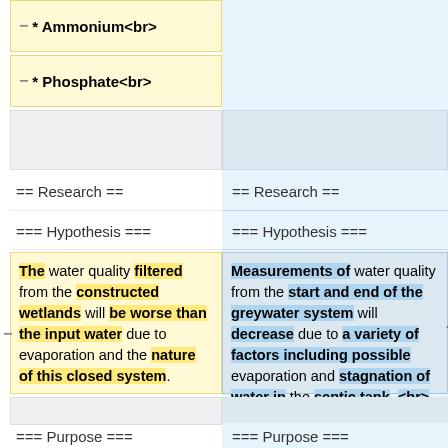−* Ammonium<br>
−* Phosphate<br>
== Research ==
=== Hypothesis ===
The water quality filtered from the constructed wetlands will be worse than the input water due to evaporation and the nature of this closed system.
== Research ==
=== Hypothesis ===
Measurements of water quality from the start and end of the greywater system will decrease due to a variety of factors including possible evaporation and stagnation of water in the septic tank. <br>
=== Purpose ===
=== Purpose ===